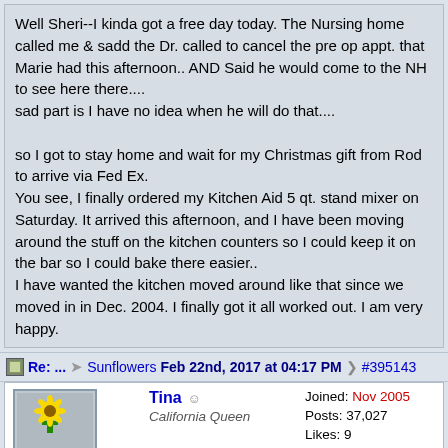Well Sheri--I kinda got a free day today. The Nursing home called me & sadd the Dr. called to cancel the pre op appt. that Marie had this afternoon.. AND Said he would come to the NH to see here there....
sad part is I have no idea when he will do that....

so I got to stay home and wait for my Christmas gift from Rod to arrive via Fed Ex.
You see, I finally ordered my Kitchen Aid 5 qt. stand mixer on Saturday. It arrived this afternoon, and I have been moving around the stuff on the kitchen counters so I could keep it on the bar so I could bake there easier..
I have wanted the kitchen moved around like that since we moved in in Dec. 2004. I finally got it all worked out. I am very happy.
Re: ... → Sunflowers  Feb 22nd, 2017 at 04:17 PM  #395143
Tina  ☺  California Queen  Joined: Nov 2005  Posts: 37,027  Likes: 9  So. Cal.
Whatcha gonna bake first, Carol?